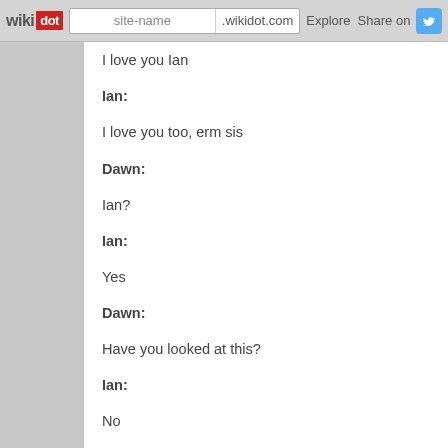wikidot | site-name .wikidot.com | Explore | Share on [Twitter]
I love you Ian
Ian:
I love you too, erm sis
Dawn:
Ian?
Ian:
Yes
Dawn:
Have you looked at this?
Ian:
No
Dawn points and gestures to the passport.
Dawn:
I think you ought to get this done properly